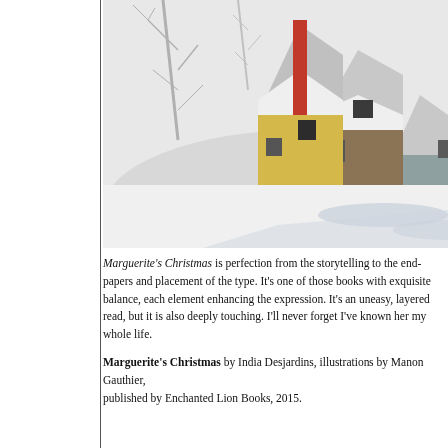[Figure (illustration): Illustration of a snowy winter scene with yellow and brown houses, snow-covered roofs, bare trees, a red chimney or pole, and blue-tinted shadows on white snow.]
Marguerite's Christmas is perfection from the storytelling to the end-papers and placement of the type. It's one of those books with exquisite balance, each element enhancing the expression. It's an uneasy, layered read, but it is also deeply touching. I'll never forget I've known her my whole life.
Marguerite's Christmas by India Desjardins, illustrations by Manon Gauthier, published by Enchanted Lion Books, 2015.